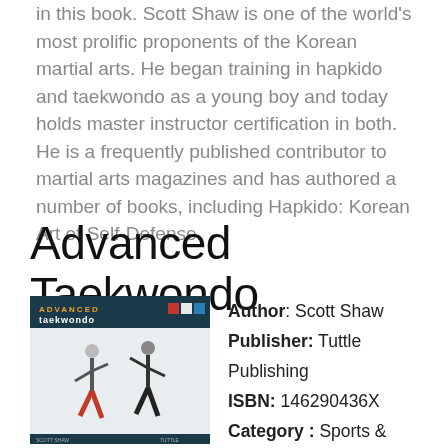in this book. Scott Shaw is one of the world's most prolific proponents of the Korean martial arts. He began training in hapkido and taekwondo as a young boy and today holds master instructor certification in both. He is a frequently published contributor to martial arts magazines and has authored a number of books, including Hapkido: Korean Art of Self-Defense.
Advanced Taekwondo
[Figure (illustration): Book cover of Advanced Taekwondo showing two martial artists sparring on a white background, with dark teal header area and title text]
Author: Scott Shaw
Publisher: Tuttle Publishing
ISBN: 146290436X
Category: Sports & Recreation
Languages: en
Pages: 216